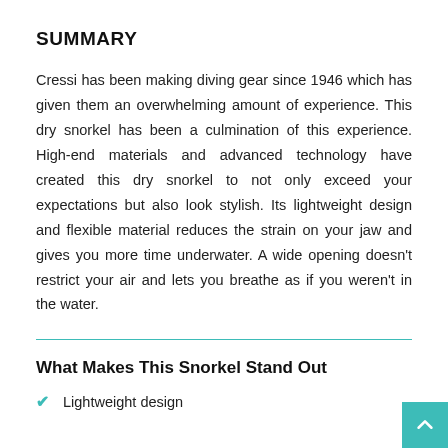SUMMARY
Cressi has been making diving gear since 1946 which has given them an overwhelming amount of experience. This dry snorkel has been a culmination of this experience. High-end materials and advanced technology have created this dry snorkel to not only exceed your expectations but also look stylish. Its lightweight design and flexible material reduces the strain on your jaw and gives you more time underwater. A wide opening doesn't restrict your air and lets you breathe as if you weren't in the water.
What Makes This Snorkel Stand Out
Lightweight design